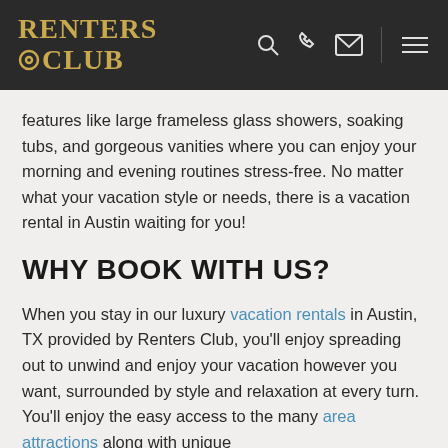RENTERS CLUB
features like large frameless glass showers, soaking tubs, and gorgeous vanities where you can enjoy your morning and evening routines stress-free. No matter what your vacation style or needs, there is a vacation rental in Austin waiting for you!
WHY BOOK WITH US?
When you stay in our luxury vacation rentals in Austin, TX provided by Renters Club, you'll enjoy spreading out to unwind and enjoy your vacation however you want, surrounded by style and relaxation at every turn. You'll enjoy the easy access to the many area attractions along with unique